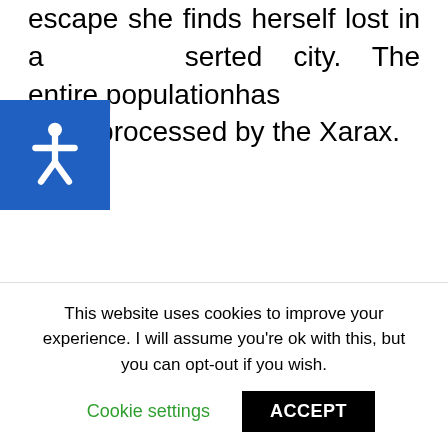escape she finds herself lost in a deserted city. The entire populationhas been processed by the Xarax.
[Figure (other): Blue accessibility icon (wheelchair symbol) overlaid on the left side of the page]
The Doctor discovers that the Americans are planning to use nuclear weapons against the Xarax, and warns them that the Xarax will respond to any threat in kind. The Americans reluctantly agree to
This website uses cookies to improve your experience. I will assume you're ok with this, but you can opt-out if you wish.
Cookie settings   ACCEPT